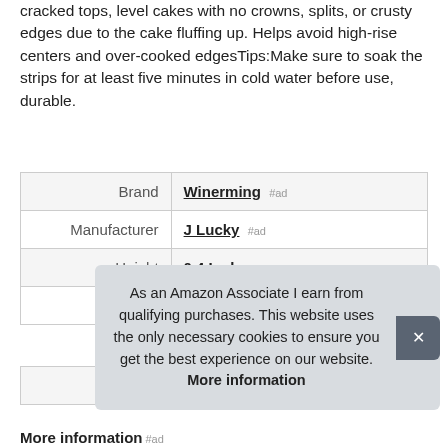cracked tops, level cakes with no crowns, splits, or crusty edges due to the cake fluffing up. Helps avoid high-rise centers and over-cooked edgesTips:Make sure to soak the strips for at least five minutes in cold water before use, durable.
|  |  |
| --- | --- |
| Brand | Winerming #ad |
| Manufacturer | J Lucky #ad |
| Height | 0.4 Inches |
| Length | 34.56 Inches |
| Width | 1.57 Inches |
| P |  |
As an Amazon Associate I earn from qualifying purchases. This website uses the only necessary cookies to ensure you get the best experience on our website. More information
More information #ad